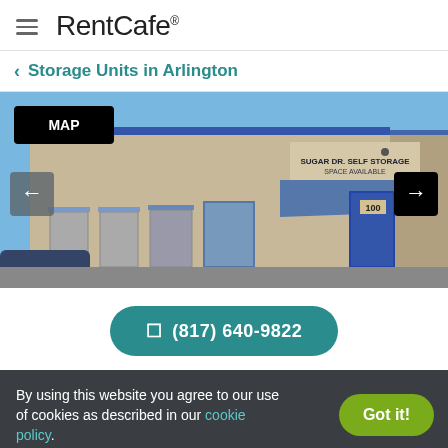RentCafe
< Storage Units in Arlington
[Figure (photo): Exterior photo of Sugar Dr. Self Storage facility in Arlington, showing a beige commercial building with blue metal awnings over unit doors, a sign reading 'Sugar Dr. Self Storage Space Available 817-640-9822', and a MAP button overlay with left/right navigation arrows]
(817) 640-9822
By using this website you agree to our use of cookies as described in our cookie policy.
Got it!